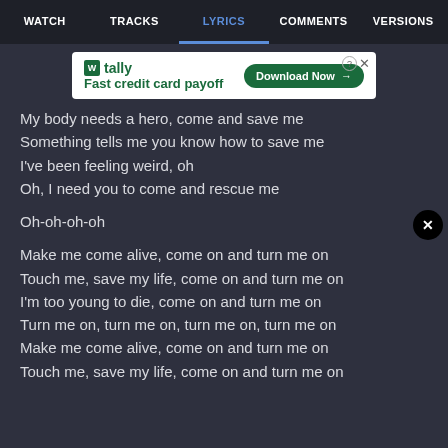WATCH  TRACKS  LYRICS  COMMENTS  VERSIONS
[Figure (other): Advertisement banner for Tally app - Fast credit card payoff with Download Now button]
My body needs a hero, come and save me
Something tells me you know how to save me
I've been feeling weird, oh
Oh, I need you to come and rescue me
Oh-oh-oh-oh
Make me come alive, come on and turn me on
Touch me, save my life, come on and turn me on
I'm too young to die, come on and turn me on
Turn me on, turn me on, turn me on, turn me on
Make me come alive, come on and turn me on
Touch me, save my life, come on and turn me on